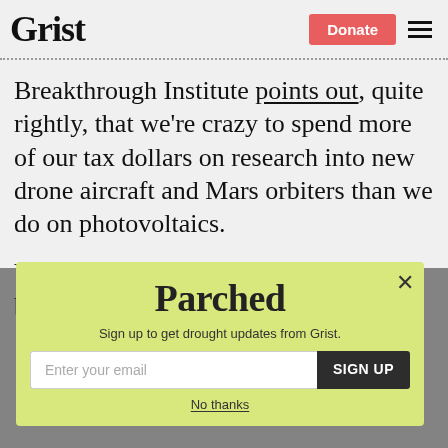Grist | Donate
Breakthrough Institute points out, quite rightly, that we're crazy to spend more of our tax dollars on research into new drone aircraft and Mars orbiters than we do on photovoltaics.
Yes, these things are politically hard, but
[Figure (other): Parchea newsletter signup popup with yellow-green background, email input field, SIGN UP button, and No thanks link]
Sign up to get drought updates from Grist.
No thanks